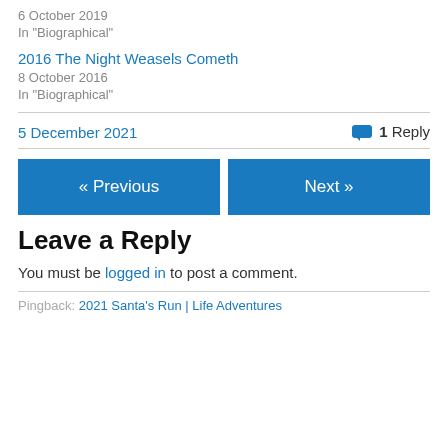6 October 2019
In "Biographical"
2016 The Night Weasels Cometh
8 October 2016
In "Biographical"
5 December 2021   💬 1 Reply
« Previous
Next »
Leave a Reply
You must be logged in to post a comment.
Pingback: 2021 Santa's Run | Life Adventures